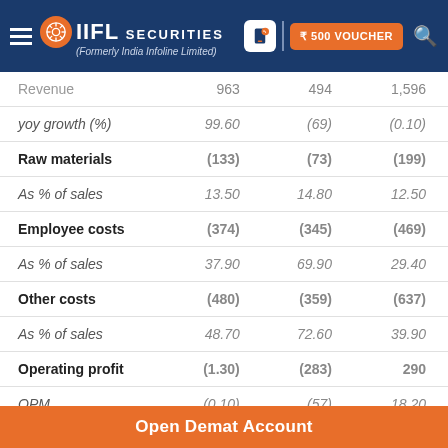IIFL Securities (Formerly India Infoline Limited) | ₹500 VOUCHER
|  | Col1 | Col2 | Col3 |
| --- | --- | --- | --- |
| Revenue | 963 | 494 | 1,596 |
| yoy growth (%) | 99.60 | (69) | (0.10) |
| Raw materials | (133) | (73) | (199) |
| As % of sales | 13.50 | 14.80 | 12.50 |
| Employee costs | (374) | (345) | (469) |
| As % of sales | 37.90 | 69.90 | 29.40 |
| Other costs | (480) | (359) | (637) |
| As % of sales | 48.70 | 72.60 | 39.90 |
| Operating profit | (1.30) | (283) | 290 |
| OPM | (0.10) | (57) | 18.20 |
| Depreciation | (10) | (18) | (16) |
Open Demat Account